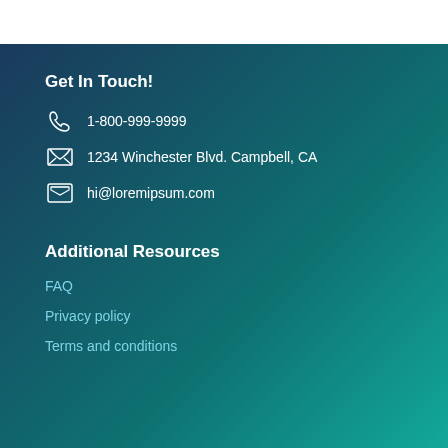Get In Touch!
1-800-999-9999
1234 Winchester Blvd. Campbell, CA
hi@loremipsum.com
Additional Resources
FAQ
Privacy policy
Terms and conditions